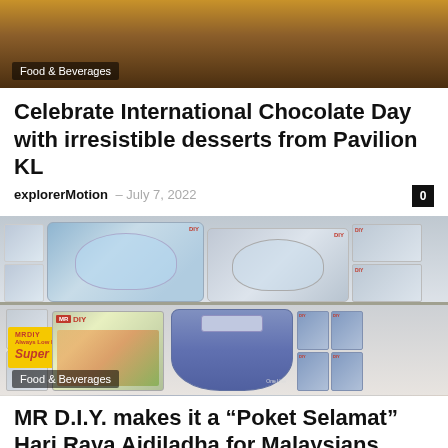[Figure (photo): Top portion of a food/dessert photo showing what appears to be chocolate-covered pastry on dark background]
Food & Beverages
Celebrate International Chocolate Day with irresistible desserts from Pavilion KL
explorerMotion – July 7, 2022
[Figure (photo): Photo of MR D.I.Y. food chopper/vegetable chopper products displayed on a store shelf with multiple boxes showing vegetables imagery and blue choppers]
Food & Beverages
MR D.I.Y. makes it a “Poket Selamat” Hari Raya Aidiladha for Malaysians